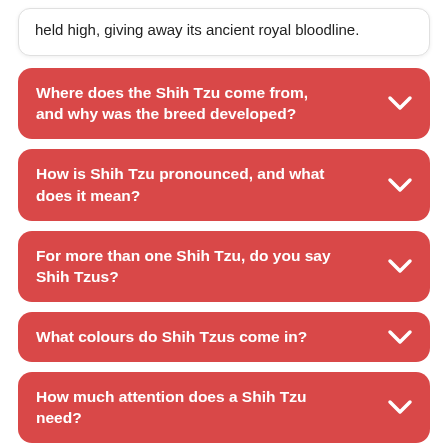held high, giving away its ancient royal bloodline.
Where does the Shih Tzu come from, and why was the breed developed?
How is Shih Tzu pronounced, and what does it mean?
For more than one Shih Tzu, do you say Shih Tzus?
What colours do Shih Tzus come in?
How much attention does a Shih Tzu need?